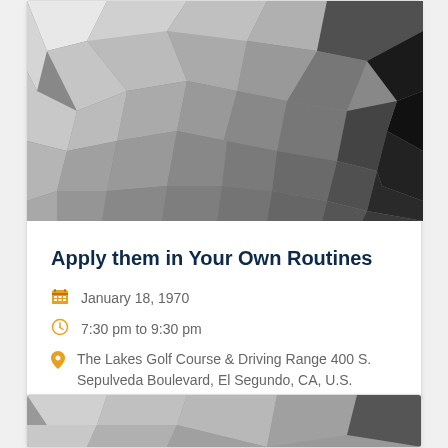[Figure (illustration): Abstract low-poly geometric background image in shades of gray, white, and dark gray forming polygon mosaic pattern]
Apply them in Your Own Routines
January 18, 1970
7:30 pm to 9:30 pm
The Lakes Golf Course & Driving Range 400 S. Sepulveda Boulevard, El Segundo, CA, U.S.
[Figure (illustration): Partial abstract low-poly geometric background image in shades of gray and white at bottom of page]